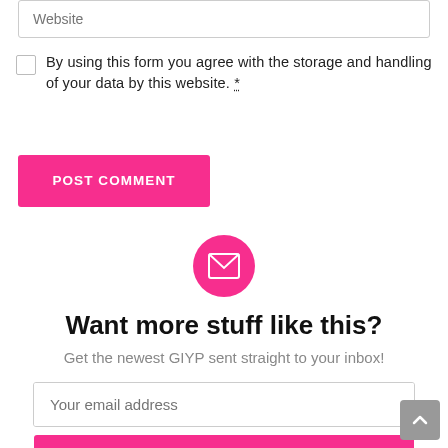Website
By using this form you agree with the storage and handling of your data by this website. *
POST COMMENT
[Figure (illustration): Pink circle with white envelope/mail icon in the center]
Want more stuff like this?
Get the newest GIYP sent straight to your inbox!
Your email address
SIGN UP
Don't worry, we don't spam